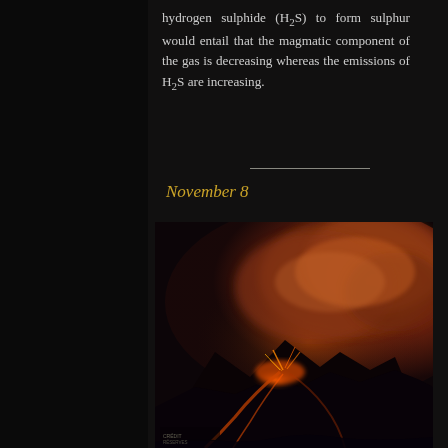hydrogen sulphide (H₂S) to form sulphur would entail that the magmatic component of the gas is decreasing whereas the emissions of H₂S are increasing.
November 8
[Figure (photo): Night photograph of a volcanic eruption showing lava fountains and orange-glowing smoke and ash clouds billowing from a volcano flank, with lava flows visible at the base.]